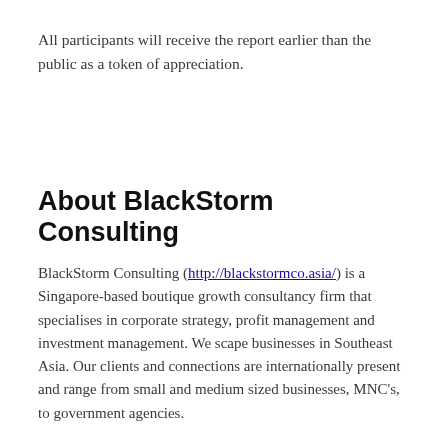All participants will receive the report earlier than the public as a token of appreciation.
About BlackStorm Consulting
BlackStorm Consulting (http://blackstormco.asia/) is a Singapore-based boutique growth consultancy firm that specialises in corporate strategy, profit management and investment management. We scape businesses in Southeast Asia. Our clients and connections are internationally present and range from small and medium sized businesses, MNC's, to government agencies.
About QBell Limited